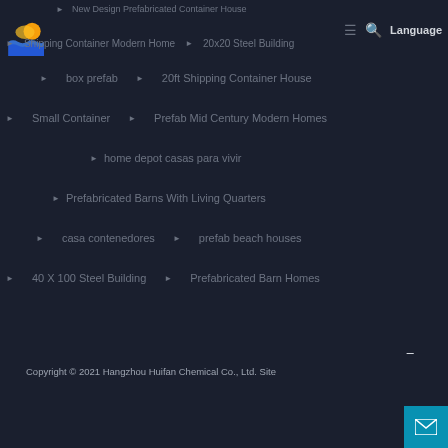New Design Prefabricated Container House | Shipping Container Modern Home | 20x20 Steel Building
box prefab
20ft Shipping Container House
Small Container
Prefab Mid Century Modern Homes
home depot casas para vivir
Prefabricated Barns With Living Quarters
casa contenedores
prefab beach houses
40 X 100 Steel Building
Prefabricated Barn Homes
Copyright © 2021 Hangzhou Huifan Chemical Co., Ltd. Site